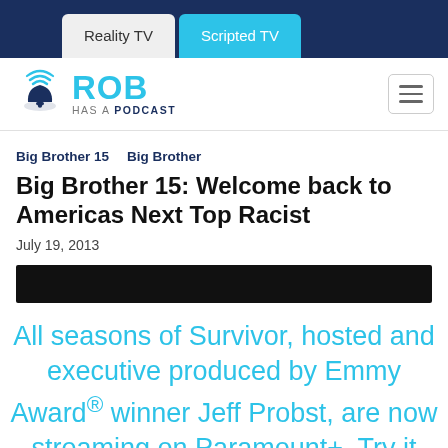Reality TV | Scripted TV
[Figure (logo): Rob Has a Podcast logo with bell/wifi icon]
Big Brother 15   Big Brother
Big Brother 15: Welcome back to Americas Next Top Racist
July 19, 2013
[Figure (other): Black banner bar]
All seasons of Survivor, hosted and executive produced by Emmy Award® winner Jeff Probst, are now streaming on Paramount+. Try it FREE!